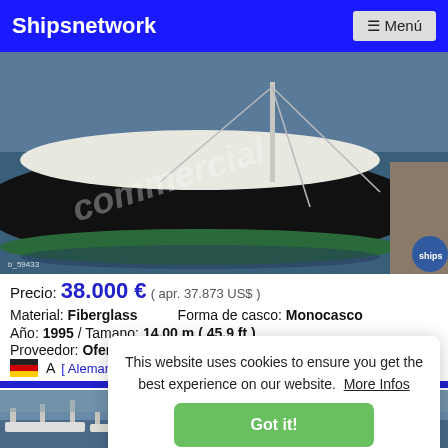Shipsnetwork  ☰ Menú
[Figure (photo): Sailboat with dark hull moored at a dock, watermark overlay on photo]
Precio: 38.000 € ( apr. 37.873 US$ )
Material: Fiberglass    Forma de casco: Monocasco
Año: 1995 / Tamano: 14,00 m ( 45,9 ft )
Proveedor: Oferta privada
A [Germany flag] ...
This website uses cookies to ensure you get the best experience on our website.  More Infos
Got it!
[Figure (photo): Marina with sailboats docked, visible at bottom of page]